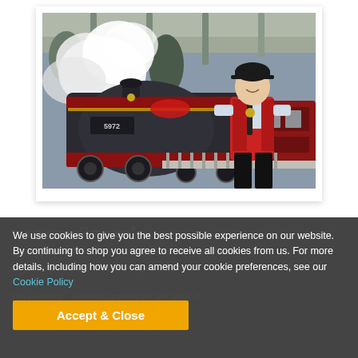[Figure (photo): A smiling young woman in a red vest and dark hat stands next to the Hogwarts Express train (numbered 5972) at a theme park station. Steam rises from the locomotive. The station has arched architecture.]
The Hogwarts™ Express*
It's every Harry Potter™ fan's dream come true – you can actually board and ride the Hogwarts™ Express!
The Hogwarts™ Express connects the two lands of
We use cookies to give you the best possible experience on our website. By continuing to shop you agree to receive all cookies from us. For more details, including how you can amend your cookie preferences, see our Cookie Policy
Accept & Close